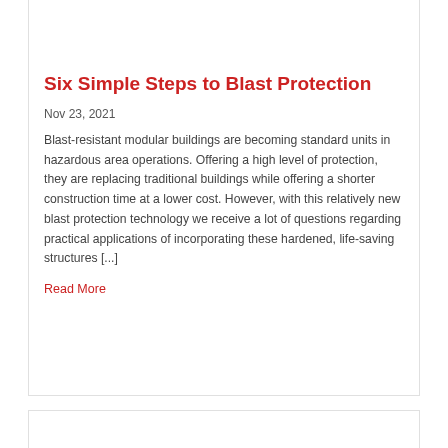[Figure (photo): Aerial or wide-angle photograph of an industrial facility with storage tanks, pipes, and structures, shown at the top of the card.]
Six Simple Steps to Blast Protection
Nov 23, 2021
Blast-resistant modular buildings are becoming standard units in hazardous area operations. Offering a high level of protection, they are replacing traditional buildings while offering a shorter construction time at a lower cost. However, with this relatively new blast protection technology we receive a lot of questions regarding practical applications of incorporating these hardened, life-saving structures [...]
Read More